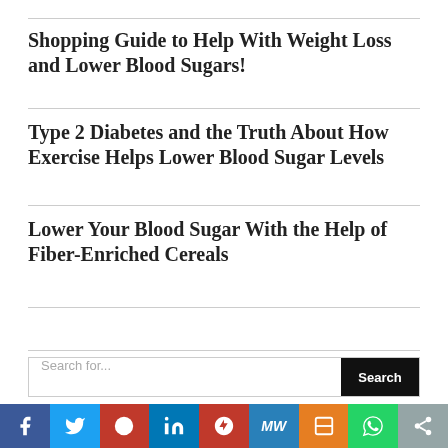Shopping Guide to Help With Weight Loss and Lower Blood Sugars!
Type 2 Diabetes and the Truth About How Exercise Helps Lower Blood Sugar Levels
Lower Your Blood Sugar With the Help of Fiber-Enriched Cereals